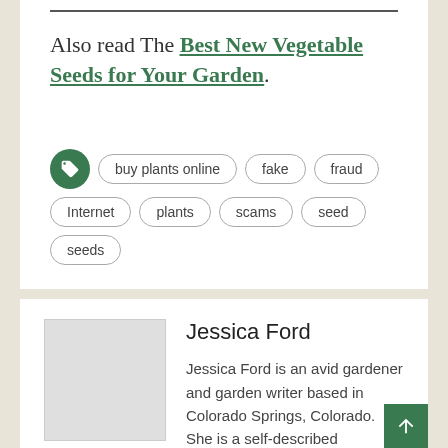Also read The Best New Vegetable Seeds for Your Garden.
buy plants online  fake  fraud  Internet  plants  scams  seed  seeds
Jessica Ford
Jessica Ford is an avid gardener and garden writer based in Colorado Springs, Colorado. She is a self-described horticulture nerd and plant addict with more than 10 years of experience in the garden industry.